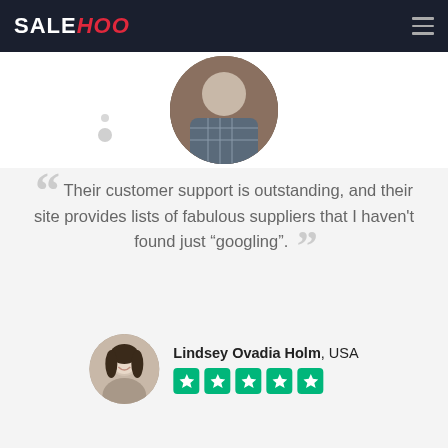SALEHOO
[Figure (photo): Circular cropped photo of a person working at a desk, wearing a plaid shirt]
Their customer support is outstanding, and their site provides lists of fabulous suppliers that I haven't found just "googling".
[Figure (photo): Circular avatar photo of Lindsey Ovadia Holm, a smiling woman with dark hair]
Lindsey Ovadia Holm, USA
[Figure (other): 5-star Trustpilot rating with green star boxes]